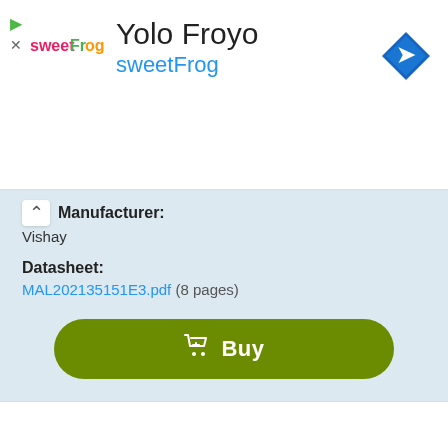[Figure (screenshot): Advertisement banner for Yolo Froyo / sweetFrog with logo, navigation arrow icon, and dismiss controls]
Manufacturer:
Vishay
Datasheet:
MAL202135151E3.pdf  (8 pages)
Buy
[Figure (photo): Photo of electronic components (inductors/resistors) - blue cylindrical components with leads]
Part Number:
2222 021 14682